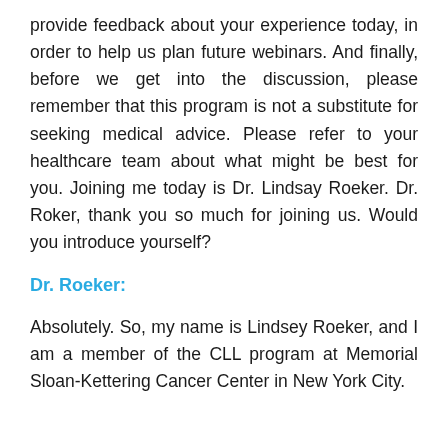provide feedback about your experience today, in order to help us plan future webinars. And finally, before we get into the discussion, please remember that this program is not a substitute for seeking medical advice. Please refer to your healthcare team about what might be best for you. Joining me today is Dr. Lindsay Roeker. Dr. Roker, thank you so much for joining us. Would you introduce yourself?
Dr. Roeker:
Absolutely. So, my name is Lindsey Roeker, and I am a member of the CLL program at Memorial Sloan-Kettering Cancer Center in New York City.